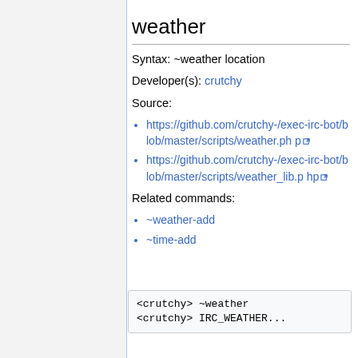weather
Syntax: ~weather location
Developer(s): crutchy
Source:
https://github.com/crutchy-/exec-irc-bot/blob/master/scripts/weather.php
https://github.com/crutchy-/exec-irc-bot/blob/master/scripts/weather_lib.php
Related commands:
~weather-add
~time-add
<crutchy> ~weather
<crutchy> IRC_WEATHER...